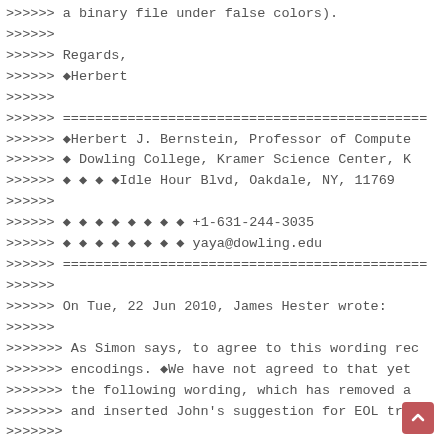>>>>>> a binary file under false colors).
>>>>>>
>>>>>> Regards,
>>>>>> ◆Herbert
>>>>>>
>>>>>> ================================================
>>>>>> ◆Herbert J. Bernstein, Professor of Compute
>>>>>> ◆ Dowling College, Kramer Science Center, K
>>>>>> ◆ ◆ ◆ ◆Idle Hour Blvd, Oakdale, NY, 11769
>>>>>>
>>>>>> ◆ ◆ ◆ ◆ ◆ ◆ ◆ ◆ +1-631-244-3035
>>>>>> ◆ ◆ ◆ ◆ ◆ ◆ ◆ ◆ yaya@dowling.edu
>>>>>> ================================================
>>>>>>
>>>>>> On Tue, 22 Jun 2010, James Hester wrote:
>>>>>>
>>>>>>> As Simon says, to agree to this wording rec
>>>>>>> encodings. ◆We have not agreed to that yet
>>>>>>> the following wording, which has removed a
>>>>>>> and inserted John's suggestion for EOL trea
>>>>>>>